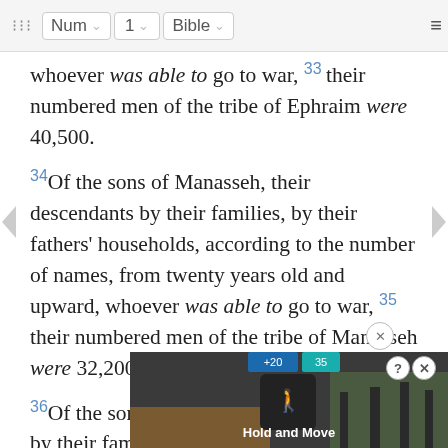⁝⁝⁝  Num  ∨  1  ∨  Bible  ∨  ≡
whoever was able to go to war, 33 their numbered men of the tribe of Ephraim were 40,500.
34 Of the sons of Manasseh, their descendants by their families, by their fathers' households, according to the number of names, from twenty years old and upward, whoever was able to go to war, 35 their numbered men of the tribe of Manasseh were 32,200.
36 Of the sons of Benjamin, their descendants by their families, by their fathers' households, according to the number of names, from twenty years old and upward, whoever was able to go to war, 37 their numbered men of the tribe of Benjamin were 35,400.
38 Of t…r
[Figure (screenshot): Advertisement overlay showing 'Hold and Move' app with close button (X) and help button (?)]